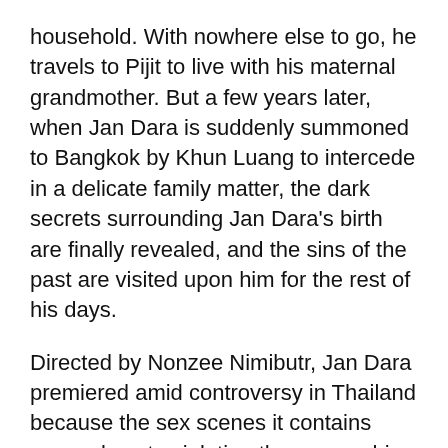household. With nowhere else to go, he travels to Pijit to live with his maternal grandmother. But a few years later, when Jan Dara is suddenly summoned to Bangkok by Khun Luang to intercede in a delicate family matter, the dark secrets surrounding Jan Dara's birth are finally revealed, and the sins of the past are visited upon him for the rest of his days.
Directed by Nonzee Nimibutr, Jan Dara premiered amid controversy in Thailand because the sex scenes it contains come close to violating the censorship guidelines of the 1930 Film Act. Nonetheless, Jan Dara received Thailand National Film Association Awards for Best Art Direction, Best Cinematography, and was also nominated for best screenplay and best sound.
Whether because of its sensual elements and erotic themes, or despite them, Jan Dara is at once, both excellent, and deeply flawed. Its sepia-toned cinematography and gorgeous casting are a lushly indulgent feast for the eyes, dialogue and character